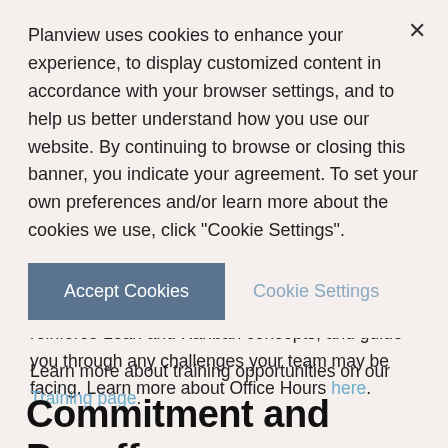Planview uses cookies to enhance your experience, to display customized content in accordance with your browser settings, and to help us better understand how you use our website. By continuing to browse or closing this banner, you indicate your agreement. To set your own preferences and/or learn more about the cookies we use, click "Cookie Settings".
Accept Cookies
Cookie Settings
reinforce Lean and Kanban concepts, and guide you through any challenges your team may be facing. Learn more about Office Hours here.
Learn more about training opportunities on our Training page.
Commitment and Payoff